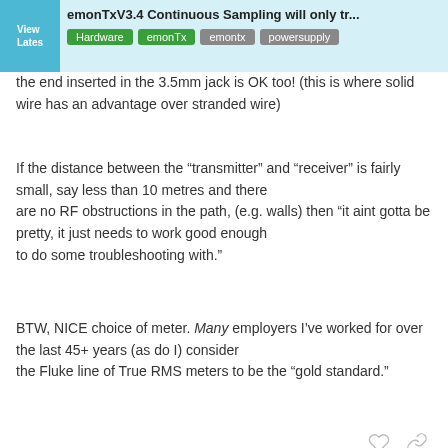emonTxV3.4 Continuous Sampling will only tr... | Hardware | emonTx | emontx | powersupply
the end inserted in the 3.5mm jack is OK too! (this is where solid wire has an advantage over stranded wire)
If the distance between the “transmitter” and “receiver” is fairly small, say less than 10 metres and there are no RF obstructions in the path, (e.g. walls) then “it aint gotta be pretty, it just needs to work good enough to do some troubleshooting with.”
BTW, NICE choice of meter. Many employers I’ve worked for over the last 45+ years (as do I) consider the Fluke line of True RMS meters to be the “gold standard.”
Robert.Wall 🛡 Sep ’21
charlesjudd:
14 / 19